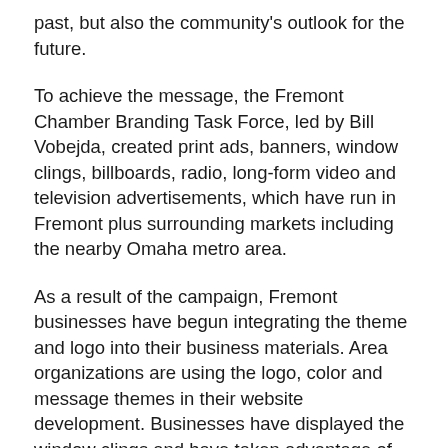past, but also the community's outlook for the future.
To achieve the message, the Fremont Chamber Branding Task Force, led by Bill Vobejda, created print ads, banners, window clings, billboards, radio, long-form video and television advertisements, which have run in Fremont plus surrounding markets including the nearby Omaha metro area.
As a result of the campaign, Fremont businesses have begun integrating the theme and logo into their business materials. Area organizations are using the logo, color and message themes in their website development. Businesses have displayed the window clings and have taken advantage of sponsorship opportunities to embrace the theme.
To continue reading, visit this article at the Fremont Tribune Online...